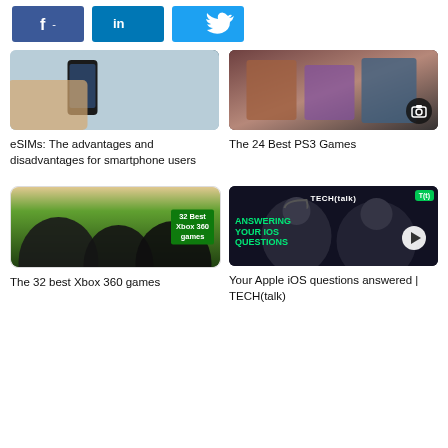[Figure (screenshot): Social sharing buttons: Facebook, LinkedIn, Twitter]
[Figure (photo): Hand holding a smartphone - article thumbnail for eSIMs]
eSIMs: The advantages and disadvantages for smartphone users
[Figure (photo): PS3 game covers collage - thumbnail for The 24 Best PS3 Games article]
The 24 Best PS3 Games
[Figure (photo): Xbox 360 game characters on green background - thumbnail for The 32 best Xbox 360 games]
The 32 best Xbox 360 games
[Figure (photo): TECH(talk) video thumbnail with two people and text ANSWERING YOUR iOS QUESTIONS]
Your Apple iOS questions answered | TECH(talk)